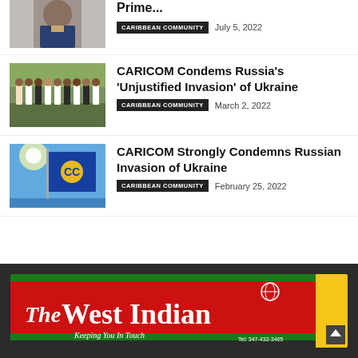[Figure (photo): Partial photo of a man in a suit, top of page cropped]
Prime...
CARIBBEAN COMMUNITY   July 5, 2022
[Figure (photo): Group of people in white shirts and dark suits standing outdoors]
CARICOM Condems Russia's 'Unjustified Invasion' of Ukraine
CARIBBEAN COMMUNITY   March 2, 2022
[Figure (photo): CARICOM flag with yellow CC logo on blue background against bright sky]
CARICOM Strongly Condemns Russian Invasion of Ukraine
CARIBBEAN COMMUNITY   February 25, 2022
[Figure (logo): The West Indian newspaper logo banner with tagline Keeping You In Touch]